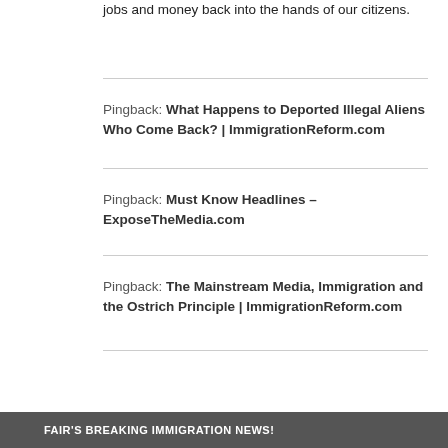jobs and money back into the hands of our citizens.
Pingback: What Happens to Deported Illegal Aliens Who Come Back? | ImmigrationReform.com
Pingback: Must Know Headlines – ExposeTheMedia.com
Pingback: The Mainstream Media, Immigration and the Ostrich Principle | ImmigrationReform.com
FAIR'S BREAKING IMMIGRATION NEWS!